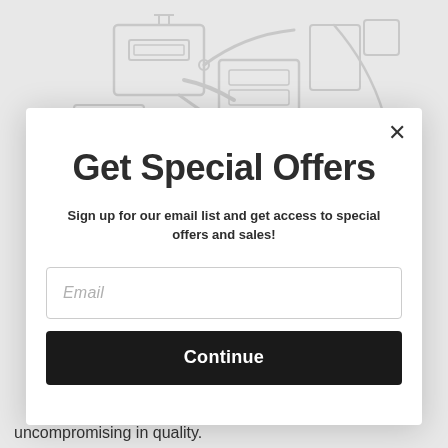[Figure (illustration): Line drawing illustration of industrial/technical equipment, shown in light gray on a light gray background]
Get Special Offers
Sign up for our email list and get access to special offers and sales!
Email (input field placeholder)
Continue (button)
uncompromising in quality.